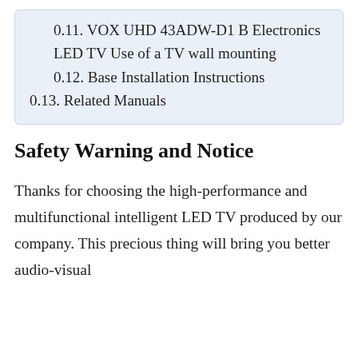0.11. VOX UHD 43ADW-D1 B Electronics LED TV Use of a TV wall mounting
0.12. Base Installation Instructions
0.13. Related Manuals
Safety Warning and Notice
Thanks for choosing the high-performance and multifunctional intelligent LED TV produced by our company. This precious thing will bring you better audio-visual